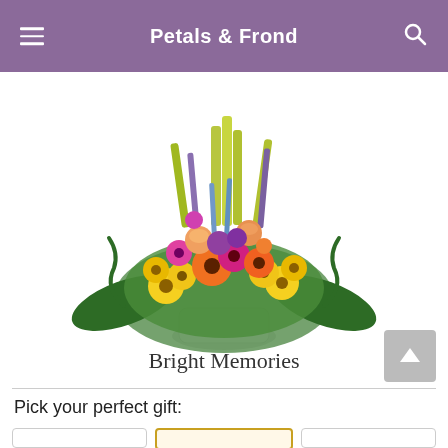Petals & Frond
[Figure (photo): A large, colorful floral arrangement in a white container featuring yellow daisies, pink and orange gerberas, purple and yellow snapdragons, roses, and green foliage on a white background.]
Bright Memories
Pick your perfect gift: